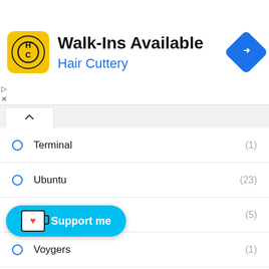[Figure (infographic): Hair Cuttery ad banner: HC logo on yellow background, 'Walk-Ins Available' heading, 'Hair Cuttery' subtitle in blue, blue diamond navigation arrow icon on right]
Terminal (1)
Ubuntu (23)
Uncategorized (5)
Voygers (1)
VS Code (1)
Website (2)
Wordpress (30)
[Figure (other): Support me button with coffee cup icon and heart, cyan/blue background]